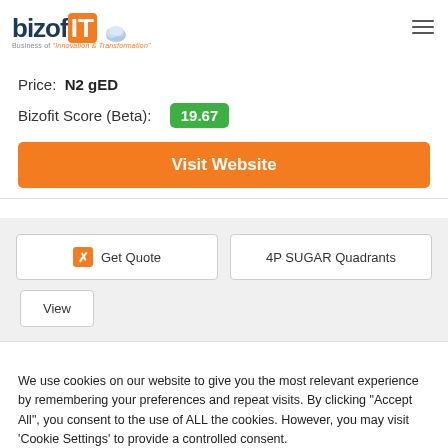bizofit — Business of Innovation & Transformation
Price: N2 gED
Bizofit Score (Beta): 19.67
Visit Website
Get Quote  |  4P SUGAR Quadrants  |  View
We use cookies on our website to give you the most relevant experience by remembering your preferences and repeat visits. By clicking "Accept All", you consent to the use of ALL the cookies. However, you may visit 'Cookie Settings' to provide a controlled consent.
Cookie Settings   Accept All